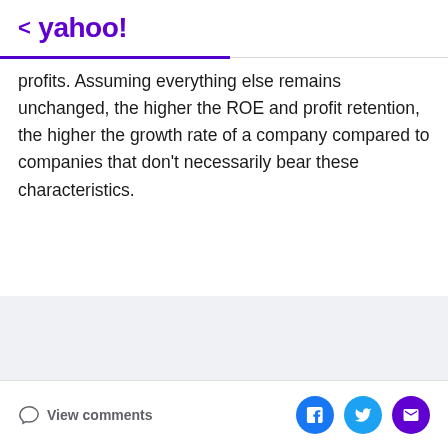< yahoo!
profits. Assuming everything else remains unchanged, the higher the ROE and profit retention, the higher the growth rate of a company compared to companies that don't necessarily bear these characteristics.
[Figure (other): Advertisement placeholder box with gray background]
View comments | Share via Facebook, Twitter, Email